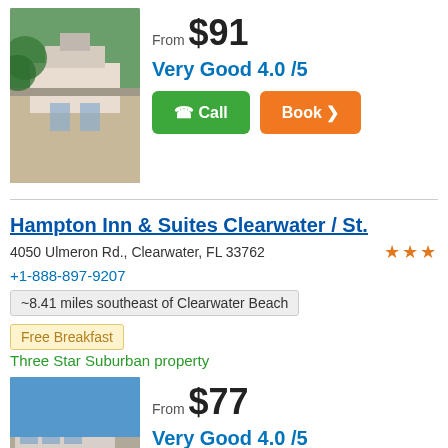[Figure (photo): Hotel exterior photo - building with trees]
From $91
Very Good 4.0 /5
Hampton Inn & Suites Clearwater / St.
4050 Ulmeron Rd., Clearwater, FL 33762
+1-888-897-9207
~8.41 miles southeast of Clearwater Beach
Free Breakfast
Three Star Suburban property
[Figure (photo): Hampton Inn exterior photo]
From $77
Very Good 4.0 /5
2 VRBO's Nearby